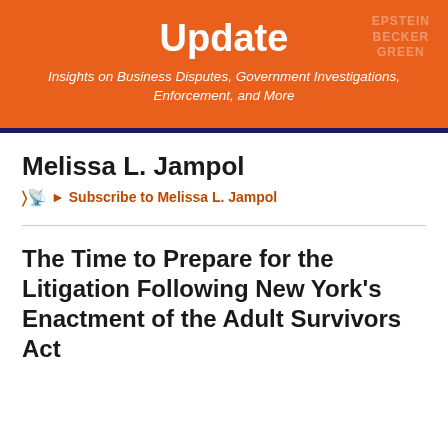Update
Insights on Business Disputes, Government Investigations, Enforcement, and More
Melissa L. Jampol
Subscribe to Melissa L. Jampol
The Time to Prepare for the Litigation Following New York's Enactment of the Adult Survivors Act